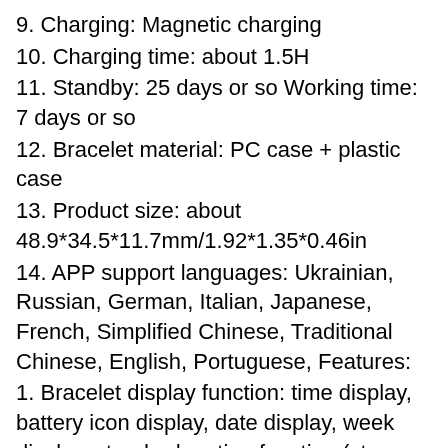9. Charging: Magnetic charging
10. Charging time: about 1.5H
11. Standby: 25 days or so Working time: 7 days or so
12. Bracelet material: PC case + plastic case
13. Product size: about 48.9*34.5*11.7mm/1.92*1.35*0.46in
14. APP support languages: Ukrainian, Russian, German, Italian, Japanese, French, Simplified Chinese, Traditional Chinese, English, Portuguese, Features:
1. Bracelet display function: time display, battery icon display, date display, week display, standard motion function (step, distance, calorie) multi-sport mode (walking, running, cycling, skipping, badminton, basketball) , football, swimming), heart rate, blood pressure detection, blood oxygen detection, sleep